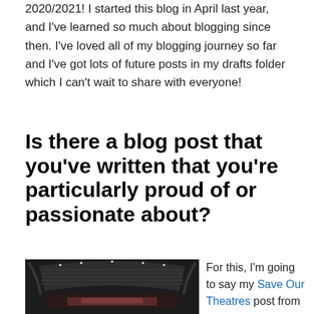2020/2021! I started this blog in April last year, and I've learned so much about blogging since then. I've loved all of my blogging journey so far and I've got lots of future posts in my drafts folder which I can't wait to share with everyone!
Is there a blog post that you've written that you're particularly proud of or passionate about?
[Figure (photo): Interior of a large empty theatre or concert venue seen from above, showing rows of seats and stage lighting]
For this, I'm going to say my Save Our Theatres post from